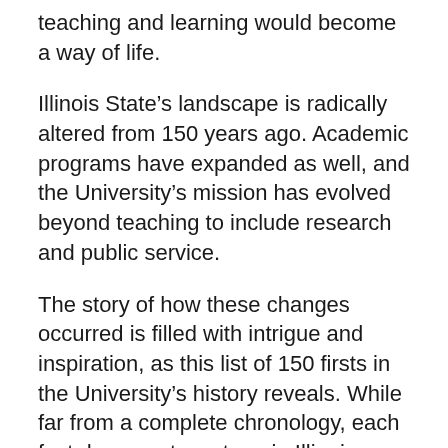teaching and learning would become a way of life.
Illinois State's landscape is radically altered from 150 years ago. Academic programs have expanded as well, and the University's mission has evolved beyond teaching to include research and public service.
The story of how these changes occurred is filled with intrigue and inspiration, as this list of 150 firsts in the University's history reveals. While far from a complete chronology, each fact documents a stage in Illinois State's evolution.
Take a moment to catch a glimpse of the events and individuals integral to the University's establishment as a prestigious teacher's college, as well as Illinois State's transformation throughout each decade. Your Redbird pride will grow with your knowledge of how your university purposefully became a leader in undergraduate education.